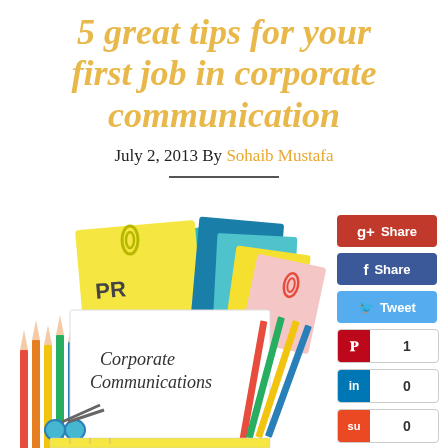5 great tips for your first job in corporate communication
July 2, 2013 By Sohaib Mustafa
[Figure (illustration): Illustration of office/PR supplies: colourful pencils, sticky notes labelled 'PR', coloured paper sheets with paper clips, and a white document reading 'Corporate Communications']
[Figure (infographic): Social sharing buttons sidebar: Google+ Share (red), Facebook Share (dark blue), Tweet (light blue), Pinterest with count 1, LinkedIn with count 0, StumbleUpon with count 0]